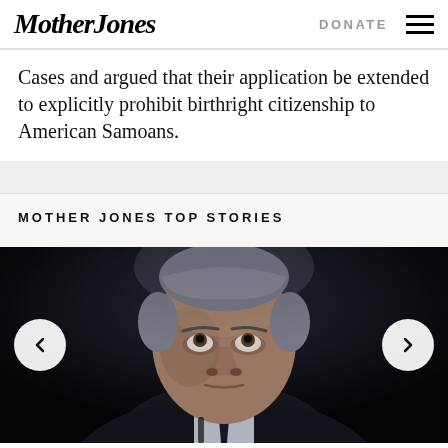Mother Jones | DONATE
Cases and argued that their application be extended to explicitly prohibit birthright citizenship to American Samoans.
MOTHER JONES TOP STORIES
[Figure (photo): Close-up portrait of an older man with grey hair in a dark suit, looking upward, photographed against a dark background. Navigation arrows visible on left and right sides of the carousel.]